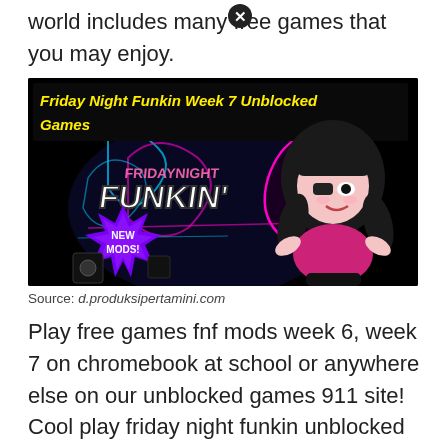world includes many free games that you may enjoy.
[Figure (illustration): Friday Night Funkin Week 7 Unblocked Games banner image with yellow text on black background, featuring the FNF logo and an anime-style character with black hair and pink outfit. A 'NEW MODS!' starburst badge is displayed.]
Source: d.produksipertamini.com
Play free games fnf mods week 6, week 7 on chromebook at school or anywhere else on our unblocked games 911 site! Cool play friday night funkin unblocked games 66 at school we have added only the best 66 unblocked games easy for school to the site.